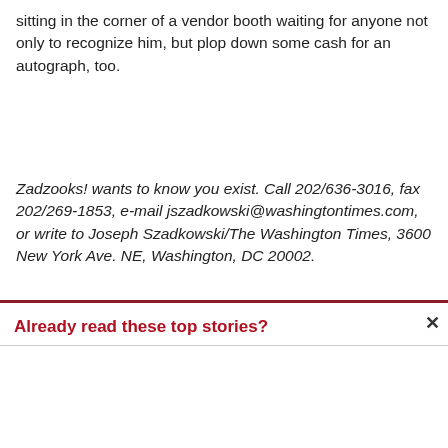sitting in the corner of a vendor booth waiting for anyone not only to recognize him, but plop down some cash for an autograph, too.
Zadzooks! wants to know you exist. Call 202/636-3016, fax 202/269-1853, e-mail jszadkowski@washingtontimes.com, or write to Joseph Szadkowski/The Washington Times, 3600 New York Ave. NE, Washington, DC 20002.
Already read these top stories?
DOJ ordered to publicly release memo Barr used to clear Trump of obstruction